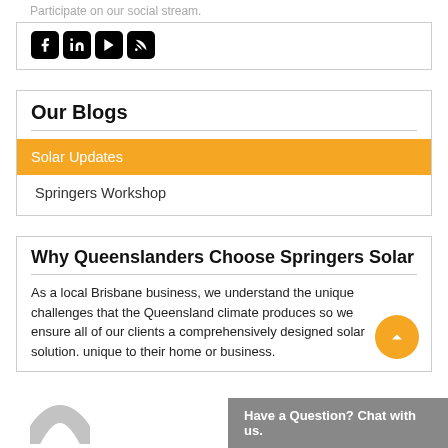Participate on our social stream.
[Figure (illustration): Social media icons: Facebook, LinkedIn, YouTube/Play button, RSS feed — black rounded square icons]
Our Blogs
Solar Updates (active/highlighted)
Springers Workshop
Why Queenslanders Choose Springers Solar
As a local Brisbane business, we understand the unique challenges that the Queensland climate produces so we ensure all of our clients a comprehensively designed solar solution unique to their home or business.
Have a Question? Chat with us.